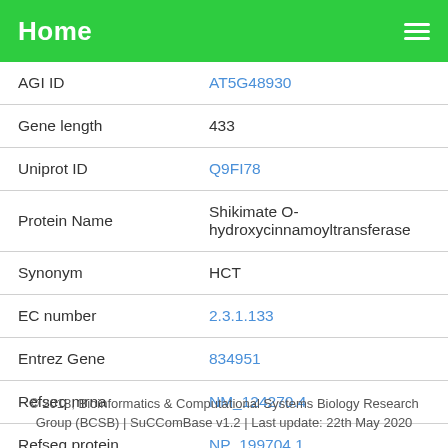Home
| Field | Value |
| --- | --- |
| AGI ID | AT5G48930 |
| Gene length | 433 |
| Uniprot ID | Q9FI78 |
| Protein Name | Shikimate O-hydroxycinnamoyltransferase |
| Synonym | HCT |
| EC number | 2.3.1.133 |
| Entrez Gene | 834951 |
| Refseq mrna | NM_124270.4 |
| Refseq protein | NP_199704.1 |
© 2018, Bioinformatics & Computational Systems Biology Research Group (BCSB) | SuCComBase v1.2 | Last update: 22th May 2020